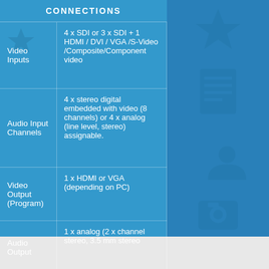CONNECTIONS
|  |  |
| --- | --- |
| Video Inputs | 4 x SDI or 3 x SDI + 1 HDMI / DVI / VGA /S-Video /Composite/Component video |
| Audio Input Channels | 4 x stereo digital embedded with video (8 channels) or 4 x analog (line level, stereo) assignable. |
| Video Output (Program) | 1 x HDMI or VGA (depending on PC) |
| Audio Output | 1 x analog (2 x channel stereo, 3.5 mm stereo |